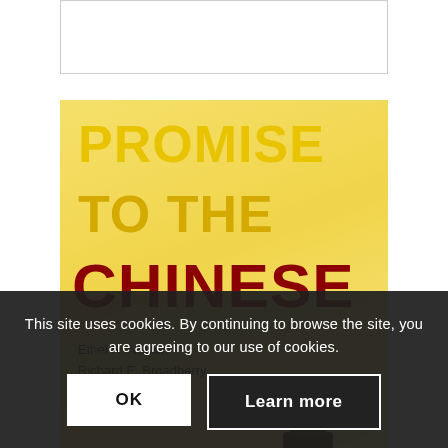£8.50
[Figure (illustration): Book cover for 'Promise to the Chinese' by Ethel R. Nelson and Richard E. Broadberry. Yellow background with large bold text. A Chinese scholar figure illustrated on the right side.]
This site uses cookies. By continuing to browse the site, you are agreeing to our use of cookies.
OK
Learn more